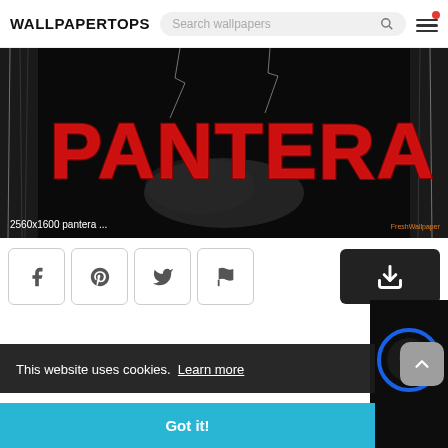WALLPAPERTOPS
[Figure (screenshot): Pantera band logo wallpaper in red grunge text on black background with lightning and smoke effects. Label reads '2560x1600 pantera ...' with FreshWallpaper watermark.]
2560x1600 pantera ...
[Figure (infographic): Row of social sharing buttons: Facebook, Pinterest, Twitter, Flag/report. Black download button on right.]
This website uses cookies.  Learn more
Got it!